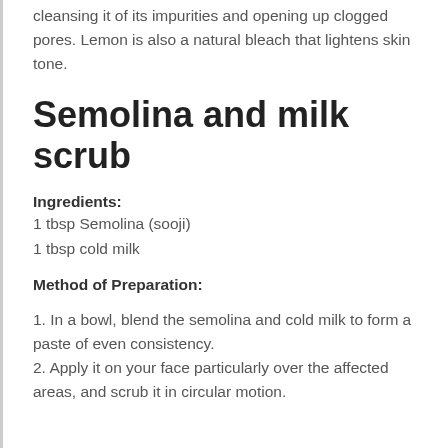cleansing it of its impurities and opening up clogged pores. Lemon is also a natural bleach that lightens skin tone.
Semolina and milk scrub
Ingredients:
1 tbsp Semolina (sooji)
1 tbsp cold milk
Method of Preparation:
1. In a bowl, blend the semolina and cold milk to form a paste of even consistency.
2. Apply it on your face particularly over the affected areas, and scrub it in circular motion.